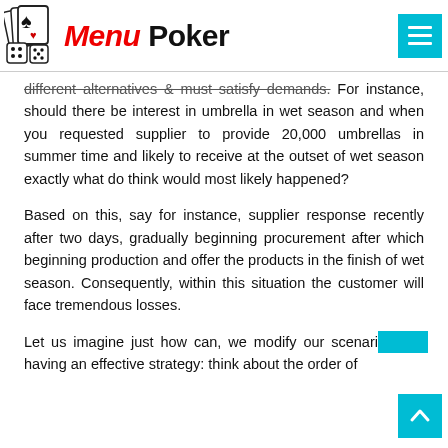Menu Poker
different alternatives & must satisfy demands. For instance, should there be interest in umbrella in wet season and when you requested supplier to provide 20,000 umbrellas in summer time and likely to receive at the outset of wet season exactly what do think would most likely happened?
Based on this, say for instance, supplier response recently after two days, gradually beginning procurement after which beginning production and offer the products in the finish of wet season. Consequently, within this situation the customer will face tremendous losses.
Let us imagine just how can, we modify our scenario having an effective strategy: think about the order of